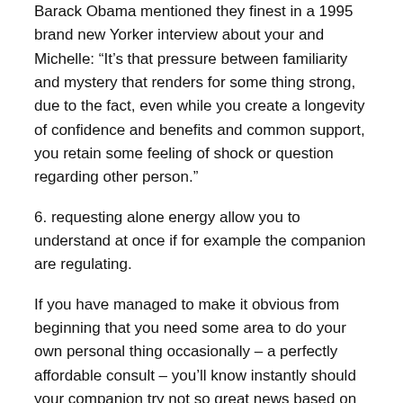Barack Obama mentioned they finest in a 1995 brand new Yorker interview about your and Michelle: “It’s that pressure between familiarity and mystery that renders for some thing strong, due to the fact, even while you create a longevity of confidence and benefits and common support, you retain some feeling of shock or question regarding other person.”
6. requesting alone energy allow you to understand at once if for example the companion are regulating.
If you have managed to make it obvious from beginning that you need some area to do your own personal thing occasionally – a perfectly affordable consult – you’ll know instantly should your companion try not so great news based on their particular response.“often, force may come from a needy mate whom calls for constant attention and confidence,” says Dr. Levine. “Or one partner may presume that getting more separate may be upsetting to the other people.”
You should n’t Feel bad for...